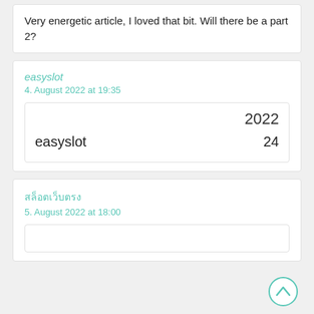Very energetic article, I loved that bit. Will there be a part 2?
easyslot
4. August 2022 at 19:35
2022
easyslot   24
สล็อตเว็บตรง
5. August 2022 at 18:00